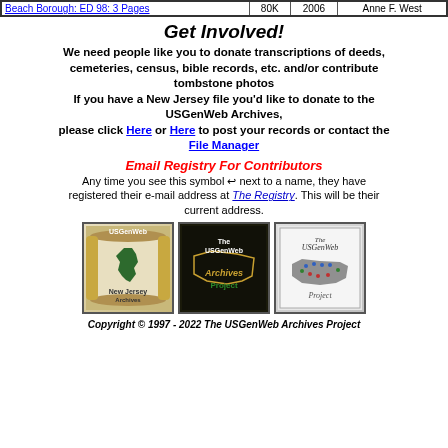| Link | Book | Year | Contributor |
| --- | --- | --- | --- |
| Beach Borough: ED 98: 3 Pages | 80K | 2006 | Anne F. West |
Get Involved!
We need people like you to donate transcriptions of deeds, cemeteries, census, bible records, etc. and/or contribute tombstone photos
If you have a New Jersey file you'd like to donate to the USGenWeb Archives,
please click Here or Here to post your records or contact the File Manager
Email Registry For Contributors
Any time you see this symbol ↵ next to a name, they have registered their e-mail address at The Registry. This will be their current address.
[Figure (logo): USGenWeb New Jersey Archives logo - scroll with NJ state silhouette]
[Figure (logo): The USGenWeb Archives Project logo - gold text on dark background]
[Figure (logo): The USGenWeb Project logo - US map with colored dots]
Copyright © 1997 - 2022 The USGenWeb Archives Project